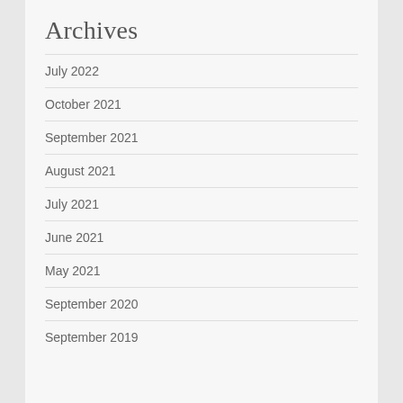Archives
July 2022
October 2021
September 2021
August 2021
July 2021
June 2021
May 2021
September 2020
September 2019